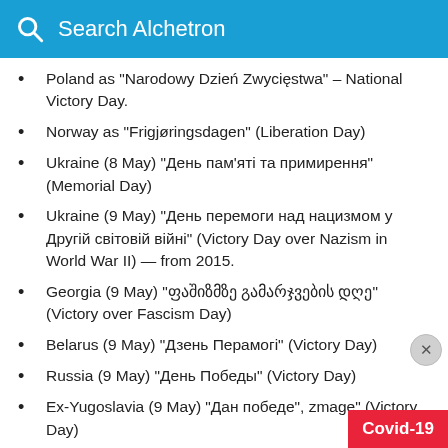Search Alchetron
Poland as "Narodowy Dzień Zwycięstwa" – National Victory Day.
Norway as "Frigjøringsdagen" (Liberation Day)
Ukraine (8 May) "День пам'яті та примирення" (Memorial Day)
Ukraine (9 May) "День перемоги над нацизмом у Другій світовій війні" (Victory Day over Nazism in World War II) — from 2015.
Georgia (9 May) "ფაშიზმზე გამარჯვების დღე" (Victory over Fascism Day)
Belarus (9 May) "Дзень Перамогі" (Victory Day)
Russia (9 May) "День Победы" (Victory Day)
Ex-Yugoslavia (9 May) "Дан победе", zmage" (Victory Day)